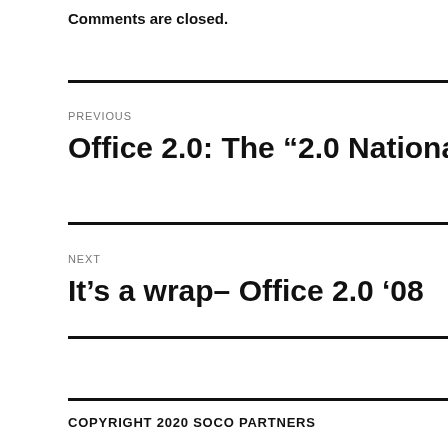Comments are closed.
PREVIOUS
Office 2.0: The “2.0 National Convention”
NEXT
It’s a wrap– Office 2.0 ’08
COPYRIGHT 2020 SOCO PARTNERS